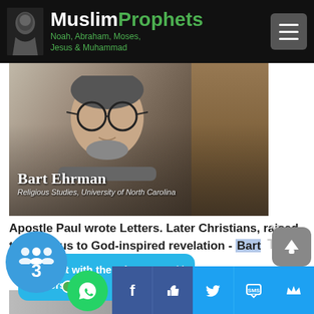MuslimProphets Noah, Abraham, Moses, Jesus & Muhammad
[Figure (screenshot): Video screenshot of Bart Ehrman, Religious Studies, University of North Carolina, sitting in front of a bookshelf. Name and title displayed as lower-third overlay.]
Apostle Paul wrote Letters. Later Christians, raised their status to God-inspired revelation - Bart Ehrman
[Figure (screenshot): Chat popup bubble: lightning bolt emoji - Chat with the other 2 visitors now, with X close button. YouTube watermark and 2:48 timer badge visible.]
[Figure (screenshot): Bottom strip showing partial second video and social sharing bar with WhatsApp, Facebook, Like, Twitter, SMS icons. Visitor bubble showing 3 with green online dot. Scroll-up button.]